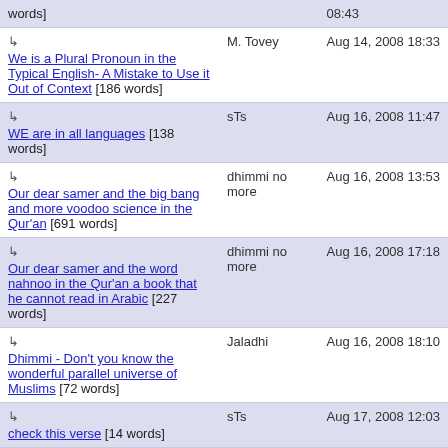| Title | Author | Date |
| --- | --- | --- |
| [words] |  | 08:43 |
| ↳ We is a Plural Pronoun in the Typical English- A Mistake to Use it Out of Context [186 words] | M. Tovey | Aug 14, 2008 18:33 |
| ↳ WE are in all languages [138 words] | sTs | Aug 16, 2008 11:47 |
| ↳ Our dear samer and the big bang and more voodoo science in the Qur'an [691 words] | dhimmi no more | Aug 16, 2008 13:53 |
| ↳ Our dear samer and the word nahnoo in the Qur'an a book that he cannot read in Arabic [227 words] | dhimmi no more | Aug 16, 2008 17:18 |
| ↳ Dhimmi - Don't you know the wonderful parallel universe of Muslims [72 words] | Jaladhi | Aug 16, 2008 18:10 |
| ↳ check this verse [14 words] | sTs | Aug 17, 2008 12:03 |
| ↳ | dhimmi no more | Aug 17 |